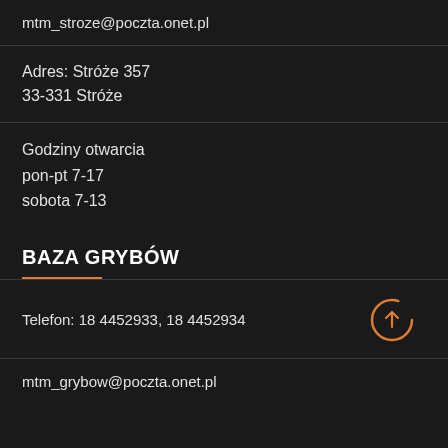mtm_stroze@poczta.onet.pl
Adres: Stróże 357
33-331 Stróże
Godziny otwarcia
pon-pt 7-17
sobota 7-13
BAZA GRYBÓW
Telefon: 18 4452933, 18 4452934
mtm_grybow@poczta.onet.pl